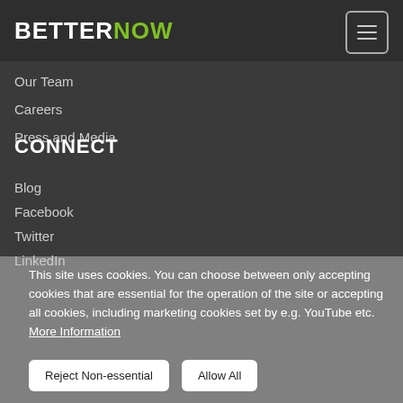BETTER NOW
Our Team
Careers
Press and Media
CONNECT
Blog
Facebook
Twitter
LinkedIn
This site uses cookies. You can choose between only accepting cookies that are essential for the operation of the site or accepting all cookies, including marketing cookies set by e.g. YouTube etc. More Information
Reject Non-essential | Allow All